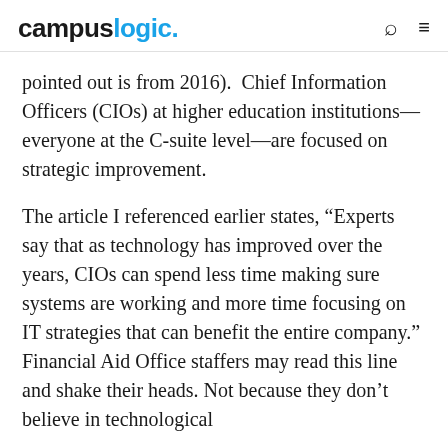campuslogic.
pointed out is from 2016).  Chief Information Officers (CIOs) at higher education institutions—everyone at the C-suite level—are focused on strategic improvement.
The article I referenced earlier states, “Experts say that as technology has improved over the years, CIOs can spend less time making sure systems are working and more time focusing on IT strategies that can benefit the entire company.” Financial Aid Office staffers may read this line and shake their heads. Not because they don’t believe in technological